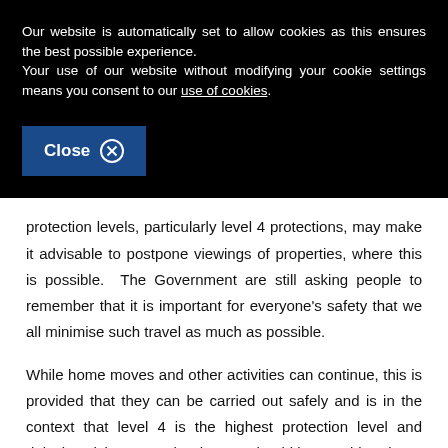Our website is automatically set to allow cookies as this ensures the best possible experience. Your use of our website without modifying your cookie settings means you consent to our use of cookies.
[Figure (other): Blue 'Close' button with circled X icon on black background]
protection levels, particularly level 4 protections, may make it advisable to postpone viewings of properties, where this is possible.  The Government are still asking people to remember that it is important for everyone's safety that we all minimise such travel as much as possible.
While home moves and other activities can continue, this is provided that they can be carried out safely and is in the context that level 4 is the highest protection level and delaying visits to people's homes should be considered